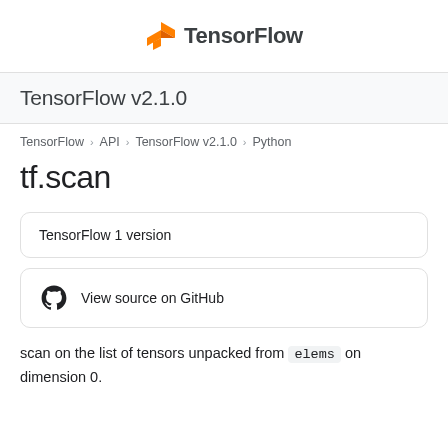TensorFlow
TensorFlow v2.1.0
TensorFlow > API > TensorFlow v2.1.0 > Python
tf.scan
TensorFlow 1 version
View source on GitHub
scan on the list of tensors unpacked from elems on dimension 0.